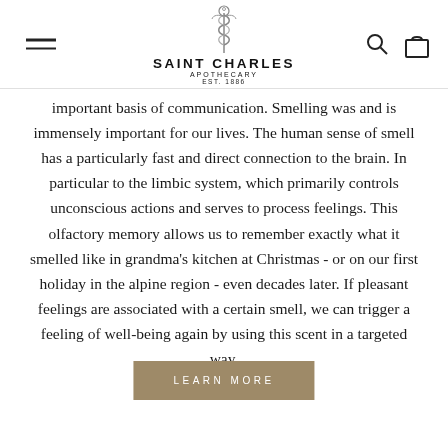[Figure (logo): Saint Charles Apothecary logo with caduceus snake staff symbol above brand name]
important basis of communication. Smelling was and is immensely important for our lives. The human sense of smell has a particularly fast and direct connection to the brain. In particular to the limbic system, which primarily controls unconscious actions and serves to process feelings. This olfactory memory allows us to remember exactly what it smelled like in grandma's kitchen at Christmas - or on our first holiday in the alpine region - even decades later. If pleasant feelings are associated with a certain smell, we can trigger a feeling of well-being again by using this scent in a targeted way.
LEARN MORE